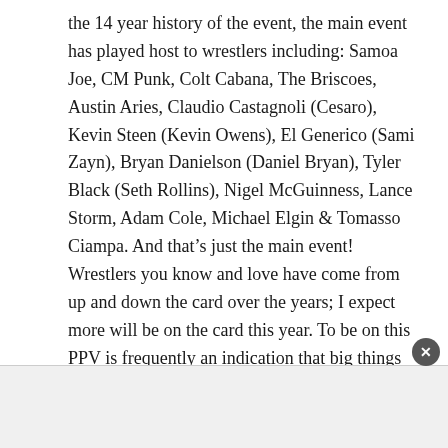the 14 year history of the event, the main event has played host to wrestlers including: Samoa Joe, CM Punk, Colt Cabana, The Briscoes, Austin Aries, Claudio Castagnoli (Cesaro), Kevin Steen (Kevin Owens), El Generico (Sami Zayn), Bryan Danielson (Daniel Bryan), Tyler Black (Seth Rollins), Nigel McGuinness, Lance Storm, Adam Cole, Michael Elgin & Tomasso Ciampa. And that’s just the main event! Wrestlers you know and love have come from up and down the card over the years; I expect more will be on the card this year. To be on this PPV is frequently an indication that big things are coming in the future.
To add to this, for the first time in what seems like